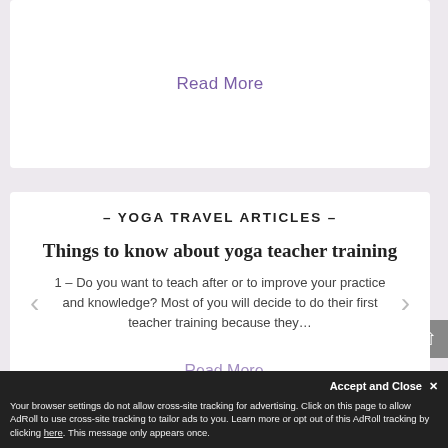Read More
— Yoga Travel Articles —
Things to know about yoga teacher training
1 – Do you want to teach after or to improve your practice and knowledge? Most of you will decide to do their first teacher training because they…
Read More
Accept and Close ✕
Your browser settings do not allow cross-site tracking for advertising. Click on this page to allow AdRoll to use cross-site tracking to tailor ads to you. Learn more or opt out of this AdRoll tracking by clicking here. This message only appears once.